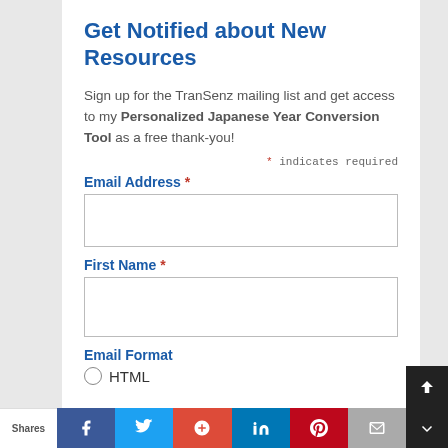Get Notified about New Resources
Sign up for the TranSenz mailing list and get access to my Personalized Japanese Year Conversion Tool as a free thank-you!
* indicates required
Email Address *
First Name *
Email Format
HTML
Shares